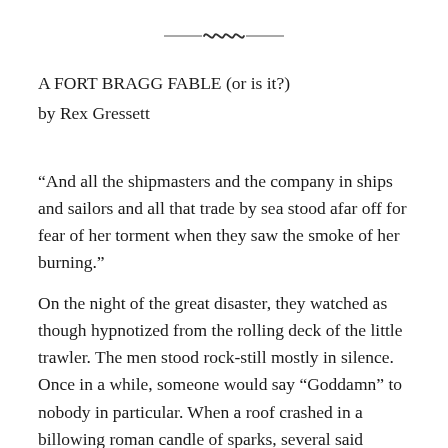[Figure (illustration): Decorative ornamental divider — a small calligraphic wave or scroll motif flanked by horizontal lines, centered at the top of the page.]
A FORT BRAGG FABLE (or is it?)
by Rex Gressett
“And all the shipmasters and the company in ships and sailors and all that trade by sea stood afar off for fear of her torment when they saw the smoke of her burning.”
On the night of the great disaster, they watched as though hypnotized from the rolling deck of the little trawler. The men stood rock-still mostly in silence. Once in a while, someone would say “Goddamn” to nobody in particular. When a roof crashed in a billowing roman candle of sparks, several said “shit.” It sounded like “sheet” and ended in a kind of moan. The